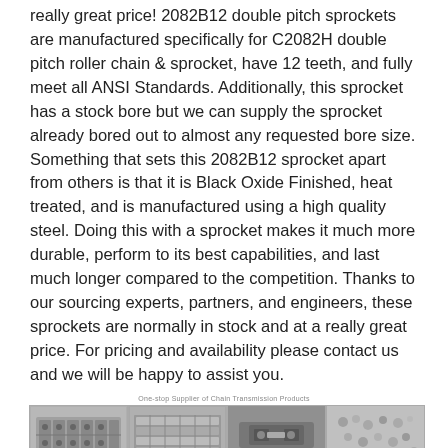really great price! 2082B12 double pitch sprockets are manufactured specifically for C2082H double pitch roller chain & sprocket, have 12 teeth, and fully meet all ANSI Standards. Additionally, this sprocket has a stock bore but we can supply the sprocket already bored out to almost any requested bore size. Something that sets this 2082B12 sprocket apart from others is that it is Black Oxide Finished, heat treated, and is manufactured using a high quality steel. Doing this with a sprocket makes it much more durable, perform to its best capabilities, and last much longer compared to the competition. Thanks to our sourcing experts, partners, and engineers, these sprockets are normally in stock and at a really great price. For pricing and availability please contact us and we will be happy to assist you.
One-stop Supplier of Chain Transmission Products
[Figure (photo): Four product photos of chain transmission products: roller chain close-up, flat chain links, chain connector/master link, and small steel components/balls.]